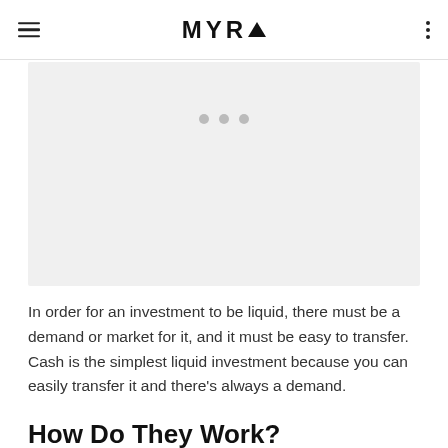MYRA
[Figure (other): Light gray image placeholder with three gray loading dots centered near the top]
In order for an investment to be liquid, there must be a demand or market for it, and it must be easy to transfer. Cash is the simplest liquid investment because you can easily transfer it and there’s always a demand.
How Do They Work?